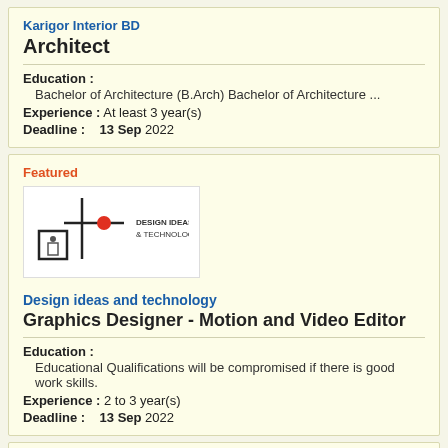Karigor Interior BD
Architect
Education : Bachelor of Architecture (B.Arch) Bachelor of Architecture ...
Experience : At least 3 year(s)
Deadline : 13 Sep 2022
Featured
[Figure (logo): Design Ideas and Technology company logo with geometric shapes and text]
Design ideas and technology
Graphics Designer - Motion and Video Editor
Education : Educational Qualifications will be compromised if there is good work skills.
Experience : 2 to 3 year(s)
Deadline : 13 Sep 2022
Featured
A reputed Hospital & Diagnostic Centre
RMO